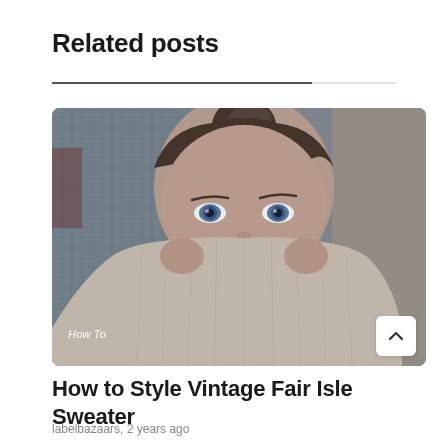Related posts
[Figure (photo): A young woman with hair in a bun holding up a chunky knit turtleneck sweater to cover the lower half of her face, revealing only her blue eyes. She is standing in front of a textured wall. A 'How To' label appears on the lower left of the image.]
How to Style Vintage Fair Isle Sweater
labelbazaars, 2 years ago